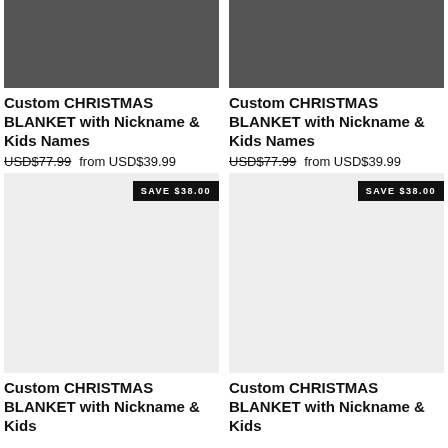[Figure (photo): Dark-colored custom Christmas blanket product photo with character figures and names AVA, NOAH, JAMES]
[Figure (photo): Dark-colored custom Christmas blanket product photo]
Custom CHRISTMAS BLANKET with Nickname & Kids Names
USD$77.99  from USD$39.99
Custom CHRISTMAS BLANKET with Nickname & Kids Names
USD$77.99  from USD$39.99
[Figure (photo): Light gray placeholder product image with SAVE $38.00 badge]
[Figure (photo): Light gray placeholder product image with SAVE $38.00 badge]
Custom CHRISTMAS BLANKET with Nickname & Kids
Custom CHRISTMAS BLANKET with Nickname & Kids